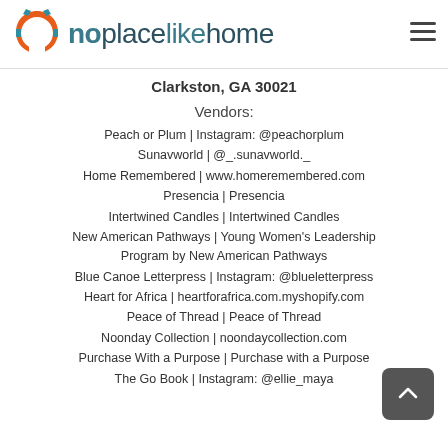noplacelikehome logo with hamburger menu
Clarkston, GA 30021
Vendors:
Peach or Plum | Instagram: @peachorplum
Sunavworld | @_.sunavworld._
Home Remembered | www.homeremembered.com
Presencia | Presencia
Intertwined Candles | Intertwined Candles
New American Pathways | Young Women's Leadership Program by New American Pathways
Blue Canoe Letterpress | Instagram: @blueletterpress
Heart for Africa | heartforafrica.com.myshopify.com
Peace of Thread | Peace of Thread
Noonday Collection | noondaycollection.com
Purchase With a Purpose | Purchase with a Purpose
The Go Book | Instagram: @ellie_maya